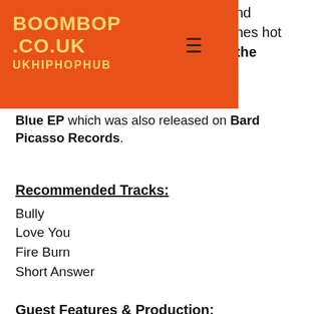[Figure (logo): BoomBop.co.uk UK Hip Hop Hub logo on orange background with hamburger menu icon]
nd
nes hot
the
Blue EP which was also released on Bard Picasso Records.
Recommended Tracks:
Bully
Love You
Fire Burn
Short Answer
Guest Features & Production:
Wolfgang Von Vanderghast
Risk 1
Odie
Cam Solo
DW Smith
Jake The Ripper